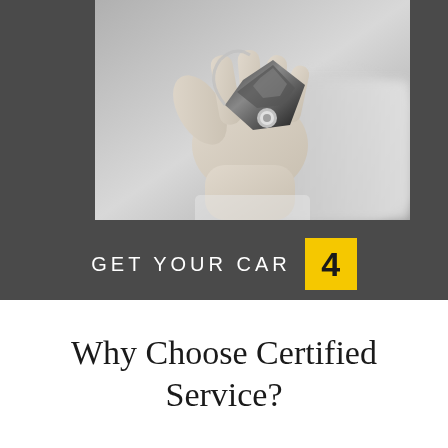[Figure (photo): Black and white close-up photo of a hand holding a car key fob, about to insert or use it on a car door/ignition]
GET YOUR CAR 4
Why Choose Certified Service?